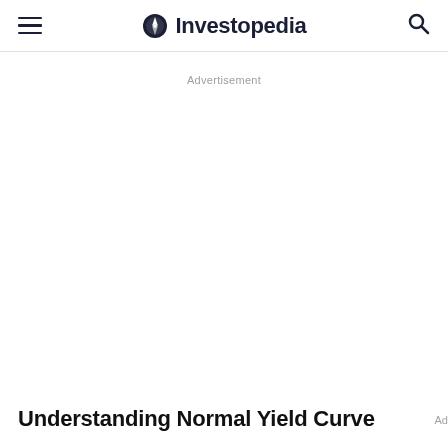Investopedia
Advertisement
Understanding Normal Yield Curve